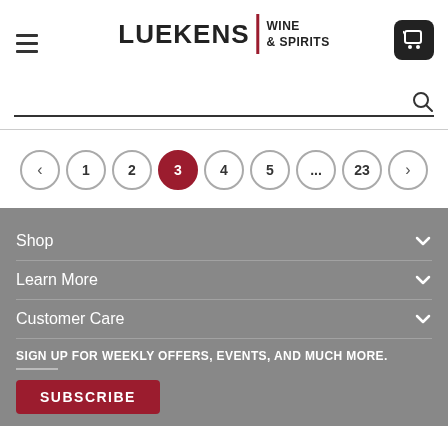[Figure (logo): Luekens Wine & Spirits logo with hamburger menu and cart icon]
[Figure (screenshot): Search bar with magnifying glass icon]
[Figure (infographic): Pagination controls: previous, 1, 2, 3 (active), 4, 5, ..., 23, next]
Shop
Learn More
Customer Care
SIGN UP FOR WEEKLY OFFERS, EVENTS, AND MUCH MORE.
SUBSCRIBE